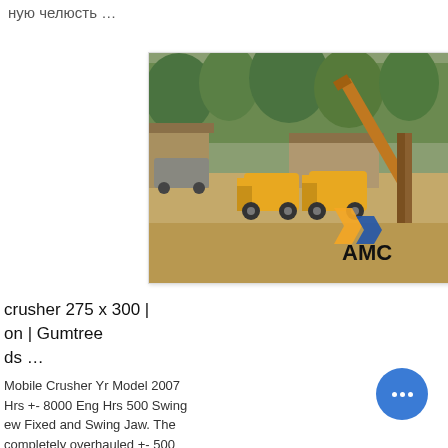ную челюсть …
[Figure (photo): Outdoor mining/crushing site with yellow wheel loaders, a conveyor belt, buildings, and trees in background. AMC logo watermark visible in lower right corner of photo.]
crusher 275 x 300 | on | Gumtree ds …
Mobile Crusher Yr Model 2007 Hrs +- 8000 Eng Hrs 500 Swing ew Fixed and Swing Jaw. The completely overhauled +- 500 e. Jaw was completely